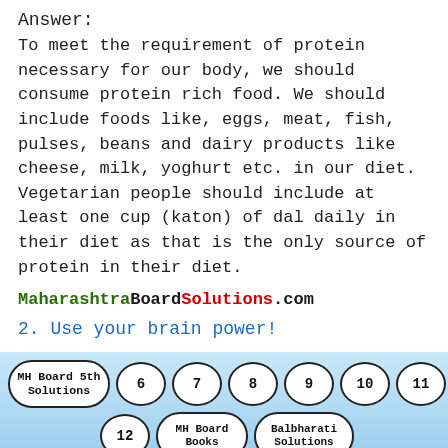Answer:
To meet the requirement of protein necessary for our body, we should consume protein rich food. We should include foods like, eggs, meat, fish, pulses, beans and dairy products like cheese, milk, yoghurt etc. in our diet. Vegetarian people should include at least one cup (katon) of dal daily in their diet as that is the only source of protein in their diet.
MaharashtraBoardSolutions.com
2. Use your brain power!
[Figure (other): Navigation footer bar with pill-shaped buttons: MH Board 5th Solutions, 6, 7, 8, 9, 10, 11, 12, MH Board Books, Balbharati Solutions on a light blue gradient background]